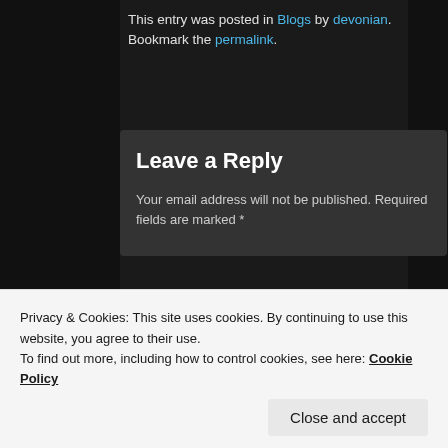This entry was posted in Blogs by devonian. Bookmark the permalink.
Leave a Reply
Your email address will not be published. Required fields are marked *
Comment *
Privacy & Cookies: This site uses cookies. By continuing to use this website, you agree to their use.
To find out more, including how to control cookies, see here: Cookie Policy
Close and accept